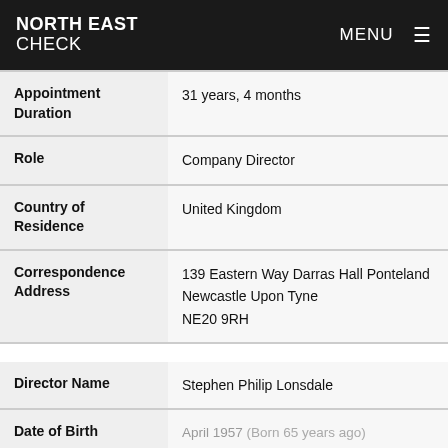NORTH EAST CHECK  MENU
| Field | Value |
| --- | --- |
| Appointment Duration | 31 years, 4 months |
| Role | Company Director |
| Country of Residence | United Kingdom |
| Correspondence Address | 139 Eastern Way Darras Hall Ponteland Newcastle Upon Tyne NE20 9RH |
| Director Name | Stephen Philip Lonsdale |
| Date of Birth | April 1957 (Born 65 years ago) |